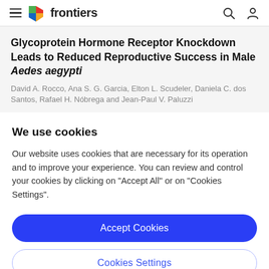frontiers
Glycoprotein Hormone Receptor Knockdown Leads to Reduced Reproductive Success in Male Aedes aegypti
David A. Rocco, Ana S. G. Garcia, Elton L. Scudeler, Daniela C. dos Santos, Rafael H. Nóbrega and Jean-Paul V. Paluzzi
We use cookies
Our website uses cookies that are necessary for its operation and to improve your experience. You can review and control your cookies by clicking on "Accept All" or on "Cookies Settings".
Accept Cookies
Cookies Settings